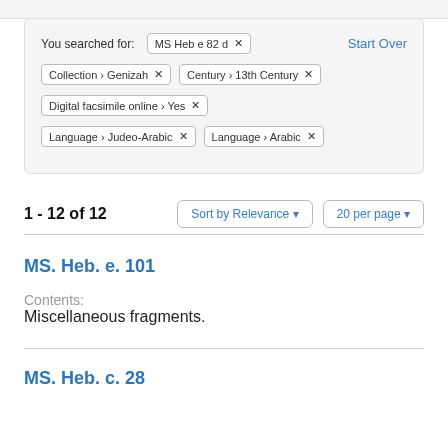You searched for: MS Heb e 82 d   Start Over
Collection > Genizah   Century > 13th Century
Digital facsimile online > Yes
Language > Judeo-Arabic   Language > Arabic
1 - 12 of 12   Sort by Relevance   20 per page
MS. Heb. e. 101
Contents:
Miscellaneous fragments.
MS. Heb. c. 28